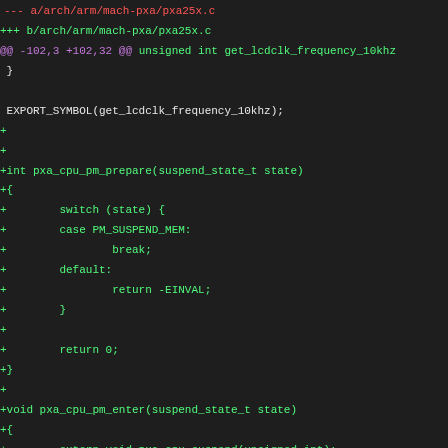[Figure (screenshot): A unified diff / code patch view showing changes to arch/arm/mach-pxa/pxa25x.c, with removed lines in red, added lines in green, and diff header in magenta, on a dark background.]